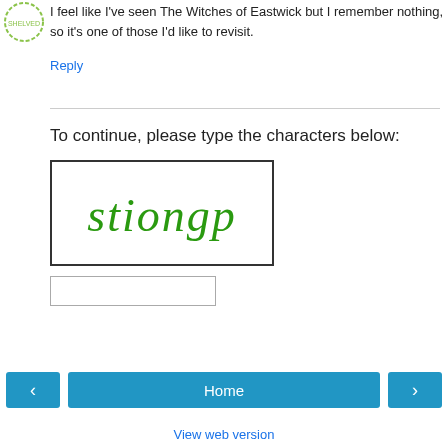I feel like I've seen The Witches of Eastwick but I remember nothing, so it's one of those I'd like to revisit.
Reply
To continue, please type the characters below:
[Figure (other): CAPTCHA image showing the text 'stiongp' in green stylized letters on a white background with a black border]
Home
View web version